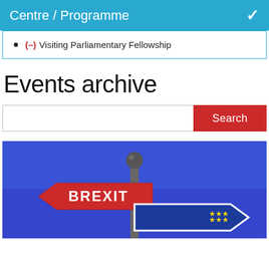Centre / Programme
(-) Visiting Parliamentary Fellowship
Events archive
[Figure (screenshot): Search bar with red Search button]
[Figure (photo): Brexit sign post against blue sky background, red arrow sign pointing left with BREXIT text, and a blue EU-style sign pointing right]